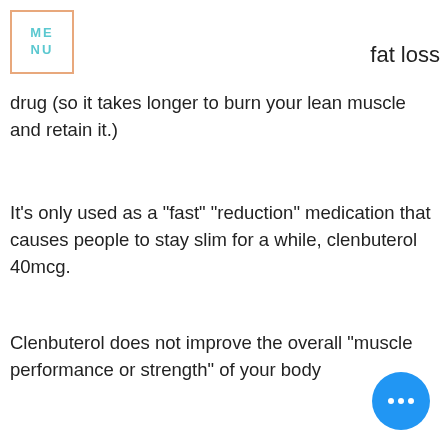ME NU
fat loss drug (so it takes longer to burn your lean muscle and retain it.)
It's only used as a "fast" "reduction" medication that causes people to stay slim for a while, clenbuterol 40mcg.
Clenbuterol does not improve the overall "muscle performance or strength" of your body
So, if you are a normal person who just wanted to lose weight, and you have had side effects to Clenbuterol such as muscle cramps, burning muscle/stretching when exercising, and pain from the side effects of Clenbuterol, you are not going to get as great a results with Clenbuterol and Examine-Based Metabolic Testing as you would with a drug.